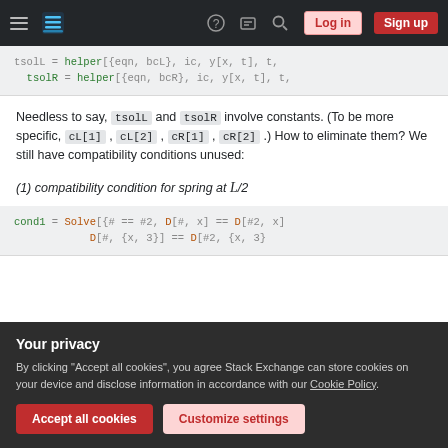Stack Exchange navigation bar with logo, hamburger menu, icons, Log in and Sign up buttons
tsolL = helper[{eqn, bcL}, ic, y[x, t], t,
tsolR = helper[{eqn, bcR}, ic, y[x, t], t,
Needless to say, tsolL and tsolR involve constants. (To be more specific, cL[1], cL[2], cR[1], cR[2].) How to eliminate them? We still have compatibility conditions unused:
cond1 = Solve[{# == #2, D[#, x] == D[#2, x]
            D[#, {x, 3}] == D[#2, {x, 3}
Your privacy
By clicking "Accept all cookies", you agree Stack Exchange can store cookies on your device and disclose information in accordance with our Cookie Policy.
Accept all cookies   Customize settings